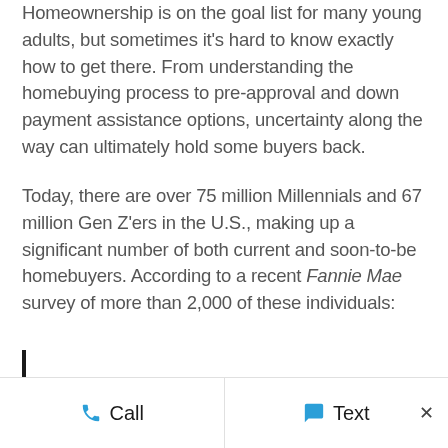Homeownership is on the goal list for many young adults, but sometimes it's hard to know exactly how to get there. From understanding the homebuying process to pre-approval and down payment assistance options, uncertainty along the way can ultimately hold some buyers back.
Today, there are over 75 million Millennials and 67 million Gen Z'ers in the U.S., making up a significant number of both current and soon-to-be homebuyers. According to a recent Fannie Mae survey of more than 2,000 of these individuals: